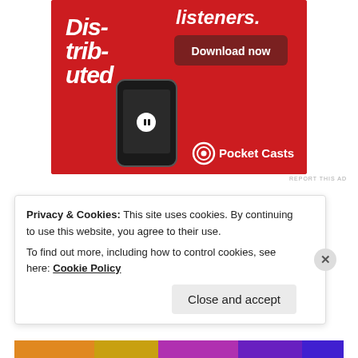[Figure (photo): Pocket Casts advertisement banner with a red background, showing a smartphone with podcast player, text 'Dis-trib-uted', 'listeners.', a 'Download now' button, and the Pocket Casts logo at the bottom right.]
REPORT THIS AD
[Figure (photo): Circular avatar image of a colorful painted tree with autumn leaves against a soft background.]
ERANNZA
17 Mar 2019 at 5:22 pm
Privacy & Cookies: This site uses cookies. By continuing to use this website, you agree to their use.
To find out more, including how to control cookies, see here: Cookie Policy
Close and accept